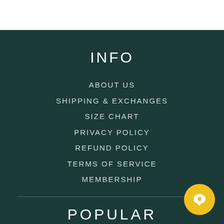INFO
ABOUT US
SHIPPING & EXCHANGES
SIZE CHART
PRIVACY POLICY
REFUND POLICY
TERMS OF SERVICE
MEMBERSHIP
POPULAR